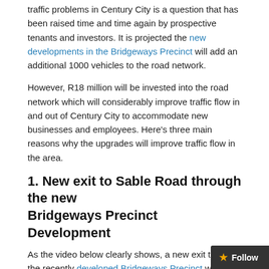traffic problems in Century City is a question that has been raised time and time again by prospective tenants and investors. It is projected the new developments in the Bridgeways Precinct will add an additional 1000 vehicles to the road network.
However, R18 million will be invested into the road network which will considerably improve traffic flow in and out of Century City to accommodate new businesses and employees. Here's three main reasons why the upgrades will improve traffic flow in the area.
1. New exit to Sable Road through the new Bridgeways Precinct Development
As the video below clearly shows, a new exit through the recently developed Bridgeways Precinct will ease congestion on at the main traffic circle on Century Boulevard. The new exit will allow vehicles to exit the precinct directly onto a continuous free flowing east-bound lane onto Sable Road.
2. New Slip lane onto N1 highway North…